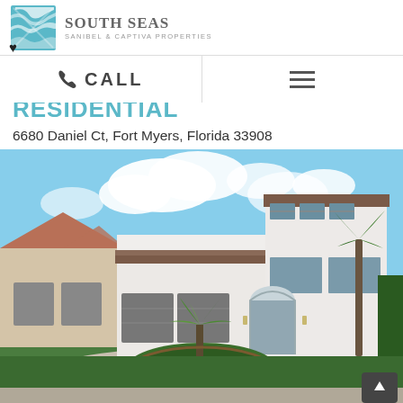[Figure (logo): South Seas Sanibel & Captiva Properties logo with teal wave/shell icon]
CALL
6680 Daniel Ct, Fort Myers, Florida 33908
[Figure (photo): Exterior photo of a large two-story white Mediterranean-style home with three-car garage, arched entry door, tile roof accents, paver driveway with circular garden island featuring tropical plants and red flowers, palm trees, green lawn, blue sky with white clouds.]